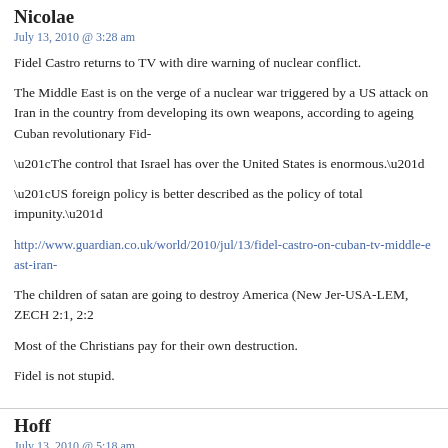Nicolae
July 13, 2010 @ 3:28 am
Fidel Castro returns to TV with dire warning of nuclear conflict.
The Middle East is on the verge of a nuclear war triggered by a US attack on Iran in the country from developing its own weapons, according to ageing Cuban revolutionary Fid-
“The control that Israel has over the United States is enormous.”
“US foreign policy is better described as the policy of total impunity.”
http://www.guardian.co.uk/world/2010/jul/13/fidel-castro-on-cuban-tv-middle-east-iran-
The children of satan are going to destroy America (New Jer-USA-LEM, ZECH 2:1, 2:2
Most of the Christians pay for their own destruction.
Fidel is not stupid.
Hoff
July 13, 2010 @ 5:18 am
The book online in full text:
The Jewish Revolutionary Spirit And Its Impact On World History
http://www.archive.org/stream/TheJewishRevolutionarySpiritAndItsImpactOnWorldH-